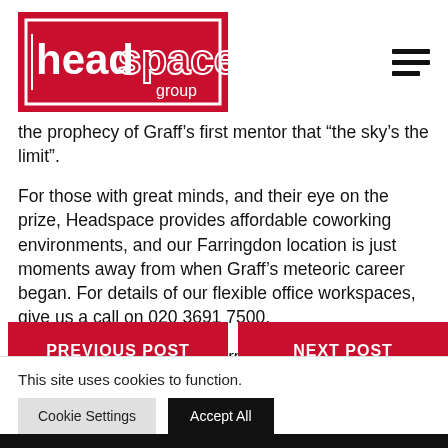[Figure (logo): Headspace Group logo — white text on red background with border rectangle]
the prophecy of Graff’s first mentor that “the sky’s the limit”.
For those with great minds, and their eye on the prize, Headspace provides affordable coworking environments, and our Farringdon location is just moments away from when Graff’s meteoric career began. For details of our flexible office workspaces, give us a call on 020 3691 7500.
Image © Trinity Mirror / Mirrorpix / Alamy Stock Photo
PREVIOUS POST
NEXT POST
This site uses cookies to function.
Cookie Settings   Accept All
BOOK A TOUR